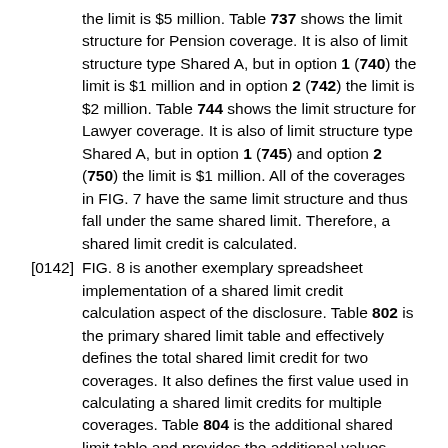the limit is $5 million. Table 737 shows the limit structure for Pension coverage. It is also of limit structure type Shared A, but in option 1 (740) the limit is $1 million and in option 2 (742) the limit is $2 million. Table 744 shows the limit structure for Lawyer coverage. It is also of limit structure type Shared A, but in option 1 (745) and option 2 (750) the limit is $1 million. All of the coverages in FIG. 7 have the same limit structure and thus fall under the same shared limit. Therefore, a shared limit credit is calculated.
[0142] FIG. 8 is another exemplary spreadsheet implementation of a shared limit credit calculation aspect of the disclosure. Table 802 is the primary shared limit table and effectively defines the total shared limit credit for two coverages. It also defines the first value used in calculating a shared limit credits for multiple coverages. Table 804 is the additional shared limit table and provides the additional values when there are more than two coverages. The Option 2 from FIG. 7, shown in Table 836 is an illustrative example for calculating